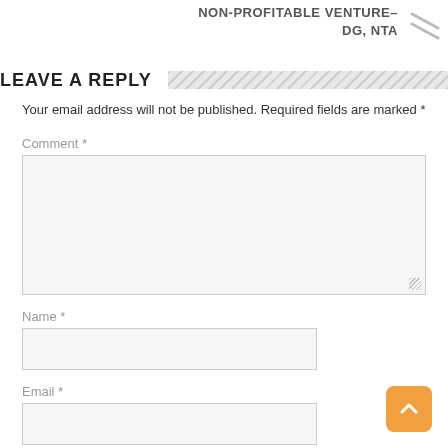NON-PROFITABLE VENTURE–DG, NTA
LEAVE A REPLY
Your email address will not be published. Required fields are marked *
Comment *
Name *
Email *
Website